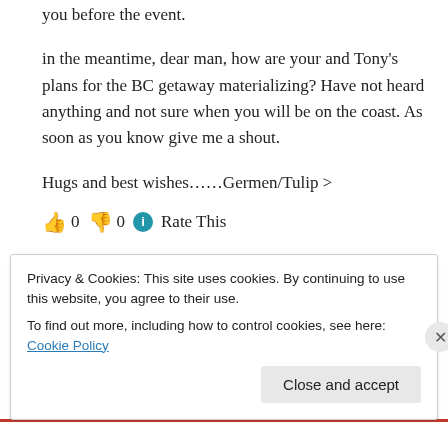you before the event.
in the meantime, dear man, how are your and Tony's plans for the BC getaway materializing? Have not heard anything and not sure when you will be on the coast. As soon as you know give me a shout.
Hugs and best wishes……Germen/Tulip >
👍 0 👎 0 ℹ Rate This
↳ Reply
Privacy & Cookies: This site uses cookies. By continuing to use this website, you agree to their use.
To find out more, including how to control cookies, see here: Cookie Policy